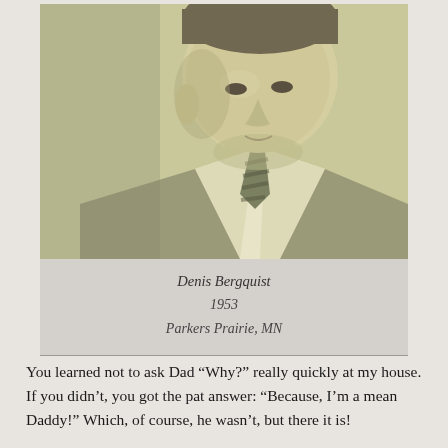[Figure (photo): Sepia-toned vintage portrait photograph of a young man (Denis Bergquist) in a suit and striped tie, circa 1953, Parkers Prairie, MN. The photo is cropped to show his face, neck, and upper torso.]
Denis Bergquist
1953
Parkers Prairie, MN
You learned not to ask Dad “Why?” really quickly at my house. If you didn’t, you got the pat answer: “Because, I’m a mean Daddy!” Which, of course, he wasn’t, but there it is!